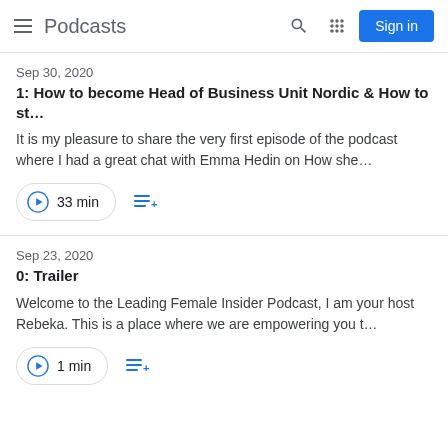Podcasts
Sep 30, 2020
1: How to become Head of Business Unit Nordic & How to st…
It is my pleasure to share the very first episode of the podcast where I had a great chat with Emma Hedin on How she…
33 min
Sep 23, 2020
0: Trailer
Welcome to the Leading Female Insider Podcast, I am your host Rebeka. This is a place where we are empowering you t…
1 min